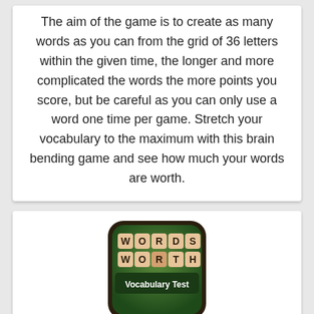The aim of the game is to create as many words as you can from the grid of 36 letters within the given time, the longer and more complicated the words the more points you score, but be careful as you can only use a word one time per game. Stretch your vocabulary to the maximum with this brain bending game and see how much your words are worth.
[Figure (logo): Words Worth app icon: dark green rounded square with letter tiles spelling WORDS / WORTH and subtitle Vocabulary Test]
Words Worth
The aim of the game is to use the grid of 36 letters to make as many words you can within the given time, the longer and more